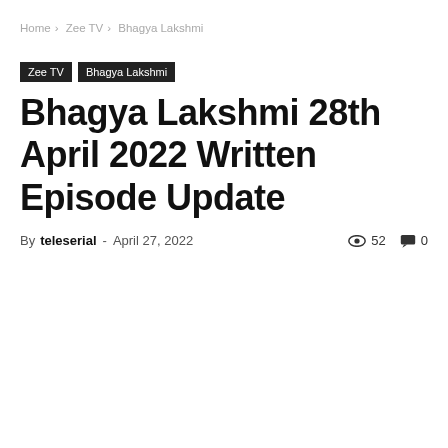Home › Zee TV › Bhagya Lakshmi
Zee TV
Bhagya Lakshmi
Bhagya Lakshmi 28th April 2022 Written Episode Update
By teleserial - April 27, 2022   52   0